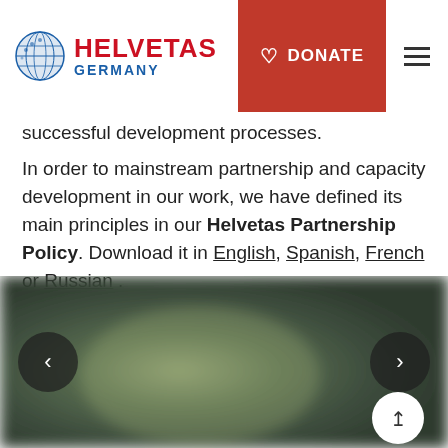HELVETAS GERMANY — navigation bar with DONATE button and hamburger menu
successful development processes.
In order to mainstream partnership and capacity development in our work, we have defined its main principles in our Helvetas Partnership Policy. Download it in English, Spanish, French or Russian .
[Figure (photo): Blurred dark green/grey outdoor photograph with left and right navigation arrows and a scroll-to-top button]